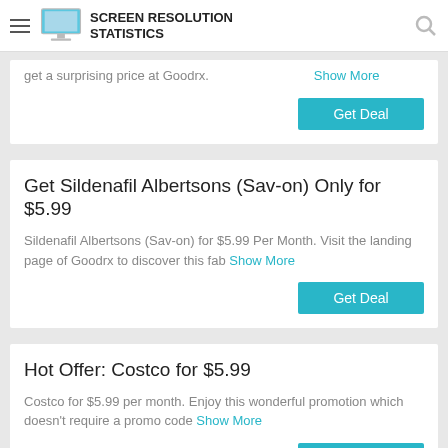SCREEN RESOLUTION STATISTICS
get a surprising price at Goodrx.
Show More
Get Deal
Get Sildenafil Albertsons (Sav-on) Only for $5.99
Sildenafil Albertsons (Sav-on) for $5.99 Per Month. Visit the landing page of Goodrx to discover this fab Show More
Get Deal
Hot Offer: Costco for $5.99
Costco for $5.99 per month. Enjoy this wonderful promotion which doesn't require a promo code Show More
Get Deal